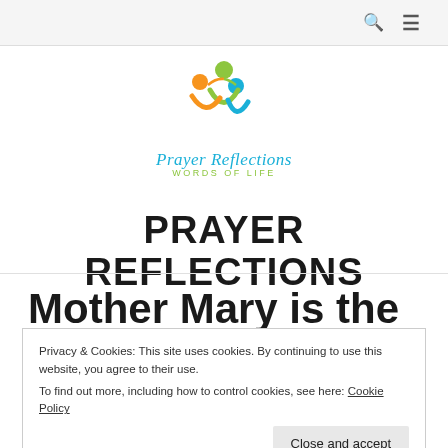Navigation bar with search and menu icons
[Figure (logo): Prayer Reflections Words of Life logo with three stylized figures in orange, blue, and green forming a circle]
PRAYER REFLECTIONS
Mother Mary is the plan of Salvation
Privacy & Cookies: This site uses cookies. By continuing to use this website, you agree to their use. To find out more, including how to control cookies, see here: Cookie Policy
Close and accept